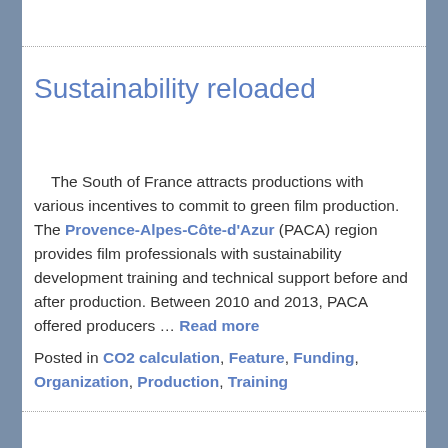Sustainability reloaded
The South of France attracts productions with various incentives to commit to green film production. The Provence-Alpes-Côte-d'Azur (PACA) region provides film professionals with sustainability development training and technical support before and after production. Between 2010 and 2013, PACA offered producers … Read more
Posted in CO2 calculation, Feature, Funding, Organization, Production, Training